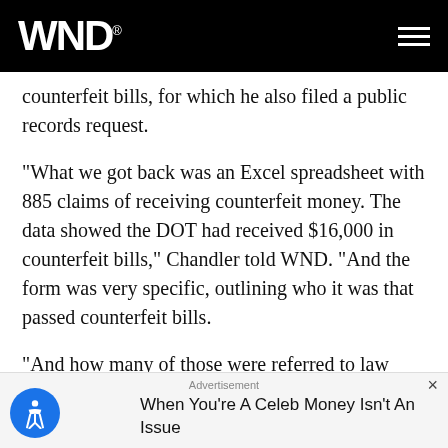WND
counterfeit bills, for which he also filed a public records request.
"What we got back was an Excel spreadsheet with 885 claims of receiving counterfeit money. The data showed the DOT had received $16,000 in counterfeit bills," Chandler told WND. "And the form was very specific, outlining who it was that passed counterfeit bills.
"And how many of those were referred to law enforcement?" he posited. "I made a public records request for referrals to law enforcement agencies of any
Advertisement
When You're A Celeb Money Isn't An Issue